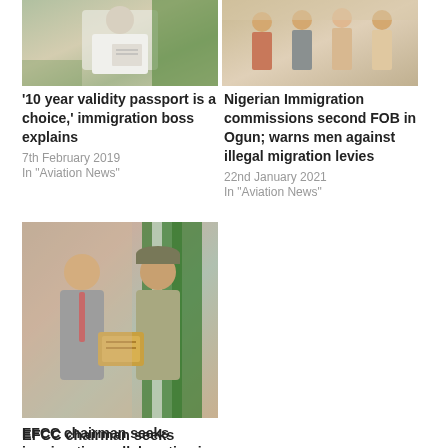[Figure (photo): Person in white uniform looking at documents]
'10 year validity passport is a choice,' immigration boss explains
7th February 2019
In "Aviation News"
[Figure (photo): Group of people in military/uniform attire standing together]
Nigerian Immigration commissions second FOB in Ogun; warns men against illegal migration levies
22nd January 2021
In "Aviation News"
[Figure (photo): Two men, one in suit and one in immigration uniform, exchanging a plaque]
EFCC chairman seeks immigration collaboration in fight against financial crimes
4th August 2022
In "Potpourri"